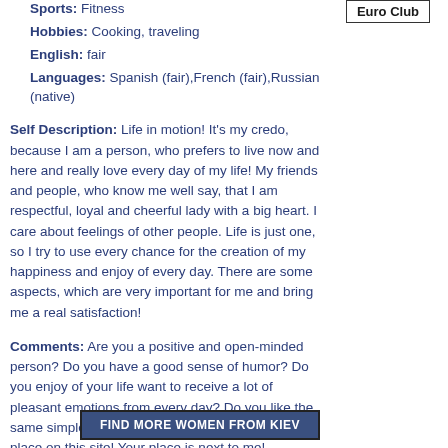Sports: Fitness
Euro Club
Hobbies: Cooking, traveling
English: fair
Languages: Spanish (fair),French (fair),Russian (native)
Self Description: Life in motion! It's my credo, because I am a person, who prefers to live now and here and really love every day of my life! My friends and people, who know me well say, that I am respectful, loyal and cheerful lady with a big heart. I care about feelings of other people. Life is just one, so I try to use every chance for the creation of my happiness and enjoy of every day. There are some aspects, which are very important for me and bring me a real satisfaction!
Comments: Are you a positive and open-minded person? Do you have a good sense of humor? Do you enjoy of your life want to receive a lot of pleasant emotions from every day? Do you like the same simple things as I do, then you do not have a place on this site! Your place is next to me!
Find more women from Kiev